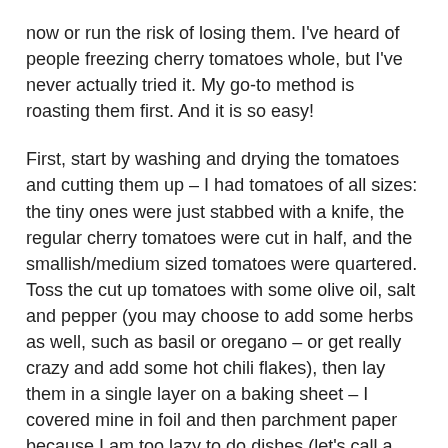now or run the risk of losing them. I've heard of people freezing cherry tomatoes whole, but I've never actually tried it. My go-to method is roasting them first. And it is so easy!
First, start by washing and drying the tomatoes and cutting them up – I had tomatoes of all sizes: the tiny ones were just stabbed with a knife, the regular cherry tomatoes were cut in half, and the smallish/medium sized tomatoes were quartered. Toss the cut up tomatoes with some olive oil, salt and pepper (you may choose to add some herbs as well, such as basil or oregano – or get really crazy and add some hot chili flakes), then lay them in a single layer on a baking sheet – I covered mine in foil and then parchment paper because I am too lazy to do dishes (let's call a spade a spade here).